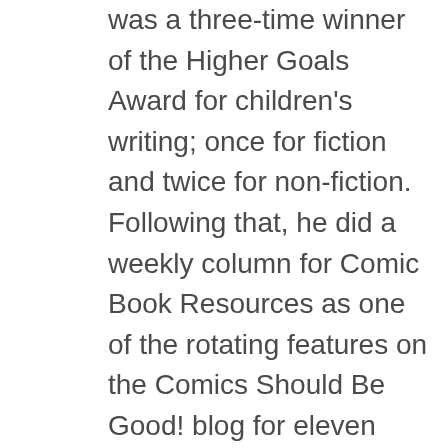was a three-time winner of the Higher Goals Award for children's writing; once for fiction and twice for non-fiction. Following that, he did a weekly column for Comic Book Resources as one of the rotating features on the Comics Should Be Good! blog for eleven years, before moving on to this current gig at Atomic Junk Shop. He also teaches writing in the Young Authors classes offered as part of the YMCA's Afterschool Arts Program in west Seattle, for students in the 6th through the 12th grade. A fan of pulp fiction ever since he discovered the Doc Savage paperback reprints from Bantam Books in the 1970s, he has contributed a number of action-adventure stories to various 'new pulp' anthologies in recent